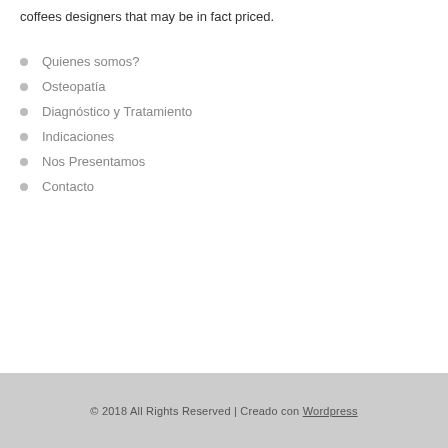coffees designers that may be in fact priced.
Quienes somos?
Osteopatía
Diagnóstico y Tratamiento
Indicaciones
Nos Presentamos
Contacto
© 2018 All Rights Reserved | Creado con Wordpress